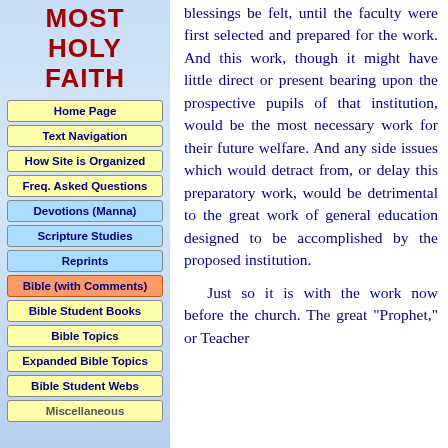MOST HOLY FAITH
Home Page
Text Navigation
How Site is Organized
Freq. Asked Questions
Devotions (Manna)
Scripture Studies
Reprints
Bible (with Comments)
Bible Student Books
Bible Topics
Expanded Bible Topics
Bible Student Webs
Miscellaneous
blessings be felt, until the faculty were first selected and prepared for the work. And this work, though it might have little direct or present bearing upon the prospective pupils of that institution, would be the most necessary work for their future welfare. And any side issues which would detract from, or delay this preparatory work, would be detrimental to the great work of general education designed to be accomplished by the proposed institution.

Just so it is with the work now before the church. The great "Prophet," or Teacher